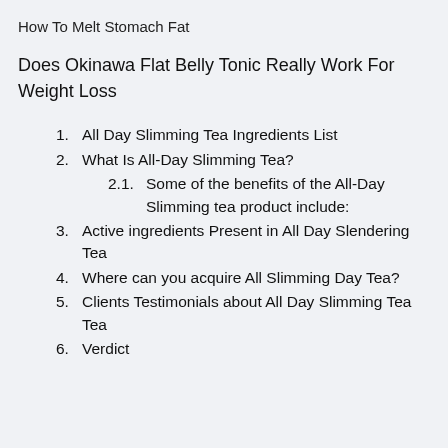How To Melt Stomach Fat
Does Okinawa Flat Belly Tonic Really Work For Weight Loss
1. All Day Slimming Tea Ingredients List
2. What Is All-Day Slimming Tea?
2.1. Some of the benefits of the All-Day Slimming tea product include:
3. Active ingredients Present in All Day Slendering Tea
4. Where can you acquire All Slimming Day Tea?
5. Clients Testimonials about All Day Slimming Tea Tea
6. Verdict